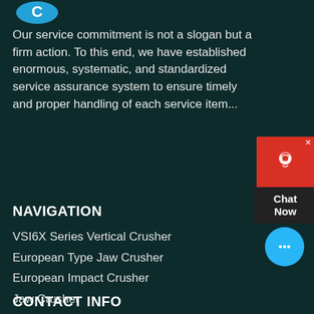[Figure (logo): Blue logo icon at top left]
Our service commitment is not a slogan but a firm action. To this end, we have established enormous, systematic, and standardized service assurance system to ensure timely and proper handling of each service item...
[Figure (other): Red chat widget with headset icon and 'Chat Now' label]
NAVIGATION
VSI6X Series Vertical Crusher
European Type Jaw Crusher
European Impact Crusher
Jaw Crusher
MTW Trapezium Mill
5X Pendulum Roller Mill
[Figure (other): Blue circular chat bubble button]
CONTACT INFO